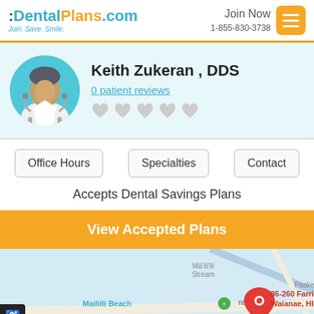:DentalPlans.com Join. Save. Smile. | Join Now 1-855-830-3738
Keith Zukeran , DDS
0 patient reviews
Office Hours | Specialties | Contact
Accepts Dental Savings Plans
View Accepted Plans
[Figure (map): Google Maps view showing location at 86-260 Farrington Hwy, Waianae, HI 96792 near Mailiili Beach with a red map pin marker.]